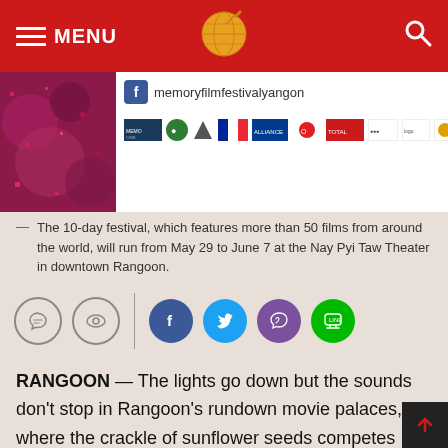MENU — [logo] — [search icon]
[Figure (screenshot): Facebook page name: memoryfilmfestivalyangon with sponsor logos bar]
The 10-day festival, which features more than 50 films from around the world, — will run from May 29 to June 7 at the Nay Pyi Taw Theater in downtown Rangoon.
[Figure (infographic): Social media sharing icons: comment bubble, eye/view icon, divider, Facebook, Twitter, Viber, Line]
RANGOON — The lights go down but the sounds don't stop in Rangoon's rundown movie palaces, where the crackle of sunflower seeds competes effortlessly with high-decibel action tracks. It's one of those rare places where you can go to a cinema and not forget that you're completely surrounded by strangers.